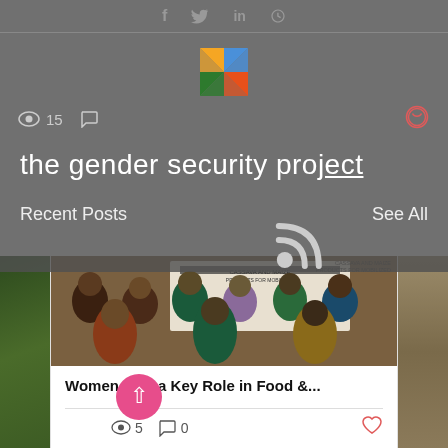the gender security project
Recent Posts
See All
15
[Figure (photo): Group photo of women, appears to be at a cassava and maize products event]
Women Play a Key Role in Food &...
5
0